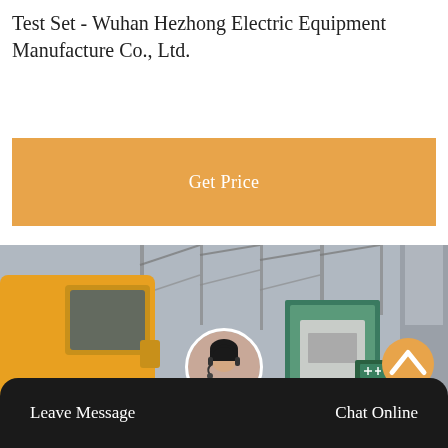Test Set - Wuhan Hezhong Electric Equipment Manufacture Co., Ltd.
Get Price
[Figure (photo): Outdoor electrical test equipment station. A yellow vehicle/truck is visible on the left side. In the center there is a teal/green-framed equipment cabinet or booth. On the right side there are gray industrial structures and a green sign with Chinese characters. Steel framework and power line structures are visible in the background.]
Leave Message
Chat Online